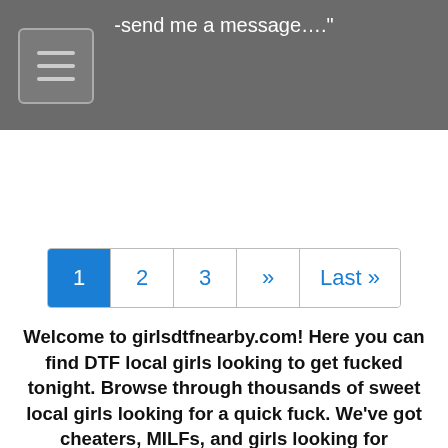-send me a message…."
1 2 3 » Last »
Welcome to girlsdtfnearby.com! Here you can find DTF local girls looking to get fucked tonight. Browse through thousands of sweet local girls looking for a quick fuck. We've got cheaters, MILFs, and girls looking for threesomes, bondage, group sex, public sex, and anything else you can think of! Don't keep these ladies waiting! They want to